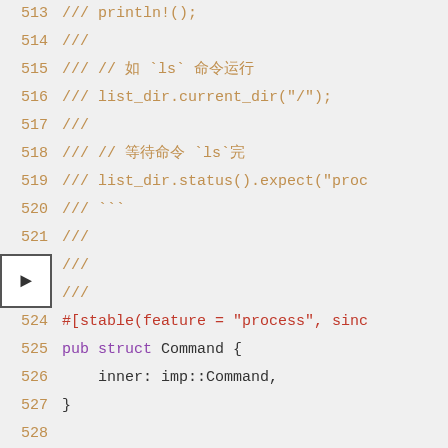Code listing showing Rust source code, lines 513-532, including doc comments, struct definition for Command, and impl blocks.